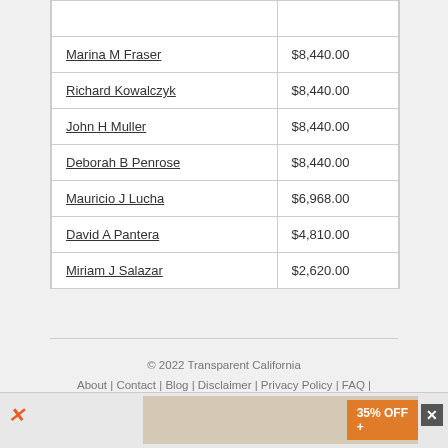| Name | Amount |
| --- | --- |
| Marina M Fraser | $8,440.00 |
| Richard Kowalczyk | $8,440.00 |
| John H Muller | $8,440.00 |
| Deborah B Penrose | $8,440.00 |
| Mauricio J Lucha | $6,968.00 |
| David A Pantera | $4,810.00 |
| Miriam J Salazar | $2,620.00 |
© 2022 Transparent California
About | Contact | Blog | Disclaimer | Privacy Policy | FAQ | Donate